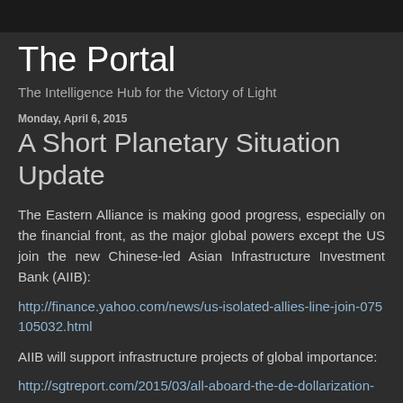The Portal
The Intelligence Hub for the Victory of Light
Monday, April 6, 2015
A Short Planetary Situation Update
The Eastern Alliance is making good progress, especially on the financial front, as the major global powers except the US join the new Chinese-led Asian Infrastructure Investment Bank (AIIB):
http://finance.yahoo.com/news/us-isolated-allies-line-join-075105032.html
AIIB will support infrastructure projects of global importance:
http://sgtreport.com/2015/03/all-aboard-the-de-dollarization-